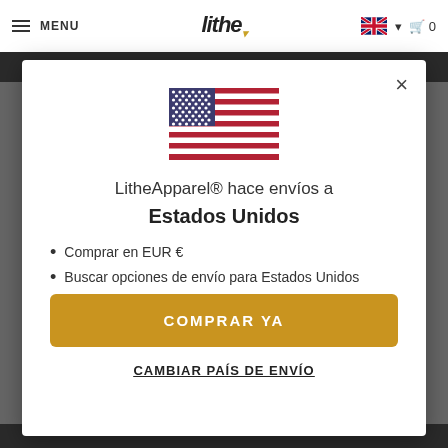MENU | lithe | 🇬🇧 ▾ | 🛒 0
[Figure (illustration): US flag (stars and stripes) displayed in the center of a modal dialog]
LitheApparel® hace envíos a
Estados Unidos
Comprar en EUR €
Buscar opciones de envío para Estados Unidos
COMPRAR YA
CAMBIAR PAÍS DE ENVÍO